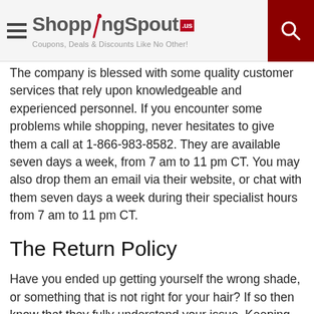ShoppingSpout.us — Coupons, Deals & Discounts Like No Other!
The company is blessed with some quality customer services that rely upon knowledgeable and experienced personnel. If you encounter some problems while shopping, never hesitates to give them a call at 1-866-983-8582. They are available seven days a week, from 7 am to 11 pm CT. You may also drop them an email via their website, or chat with them seven days a week during their specialist hours from 7 am to 11 pm CT.
The Return Policy
Have you ended up getting yourself the wrong shade, or something that is not right for your hair? If so then know that they fully understand your issue. Keeping such things on a note, several rewards members are glad that they have an excellent returns policy that makes the return process